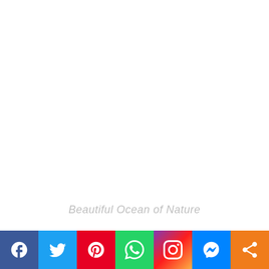Beautiful Ocean of Nature
[Figure (infographic): Social media share bar with icons: Facebook (dark blue), Twitter (light blue), Pinterest (red), WhatsApp (green), Instagram (gradient purple-red-orange), Messenger (blue), Share (orange)]